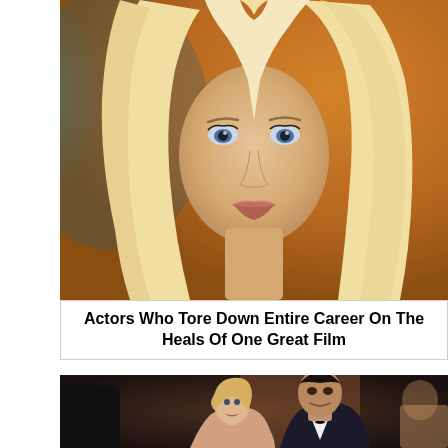[Figure (photo): Close-up portrait of a young blonde woman with blue eyes and long straight blonde hair, looking directly at the camera with a neutral expression. The background is blurred orange and teal tones.]
Actors Who Tore Down Entire Career On The Heals Of One Great Film
[Figure (photo): A couple at a formal event — a blonde woman and a dark-haired man in a tuxedo with a bow tie, both smiling. The background is dark.]